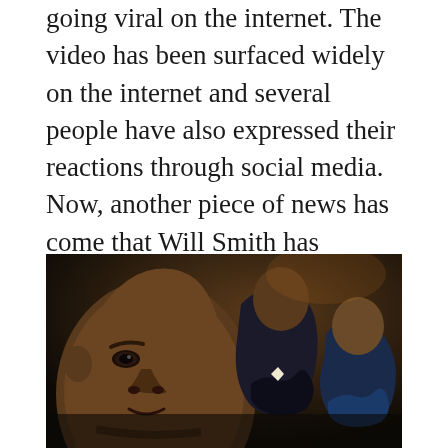going viral on the internet. The video has been surfaced widely on the internet and several people have also expressed their reactions through social media. Now, another piece of news has come that Will Smith has resigned from the Academy Awards. In this article, we are going to provide you with all details about the recent news. Follow More Update On GetIndiaNews.com
[Figure (photo): Photo showing two men, one appearing to slap the other at the Academy Awards. Chris Rock visible prominently in the foreground.]